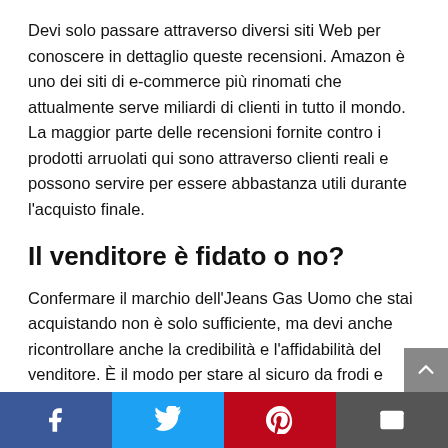Devi solo passare attraverso diversi siti Web per conoscere in dettaglio queste recensioni. Amazon è uno dei siti di e-commerce più rinomati che attualmente serve miliardi di clienti in tutto il mondo. La maggior parte delle recensioni fornite contro i prodotti arruolati qui sono attraverso clienti reali e possono servire per essere abbastanza utili durante l'acquisto finale.
Il venditore è fidato o no?
Confermare il marchio dell'Jeans Gas Uomo che stai acquistando non è solo sufficiente, ma devi anche ricontrollare anche la credibilità e l'affidabilità del venditore. È il modo per stare al sicuro da frodi e
[Figure (other): Social media share bar with Facebook, Twitter, Pinterest, and email buttons]